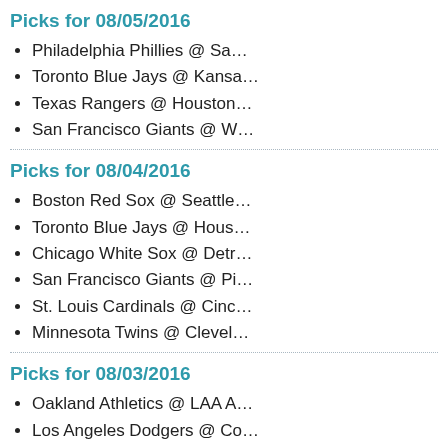Picks for 08/05/2016
Philadelphia Phillies @ Sa…
Toronto Blue Jays @ Kansa…
Texas Rangers @ Houston…
San Francisco Giants @ W…
Picks for 08/04/2016
Boston Red Sox @ Seattle…
Toronto Blue Jays @ Hous…
Chicago White Sox @ Detr…
San Francisco Giants @ Pi…
St. Louis Cardinals @ Cinc…
Minnesota Twins @ Clevel…
Picks for 08/03/2016
Oakland Athletics @ LAA A…
Los Angeles Dodgers @ Co…
St. Louis Cardinals @ Cinc…
Texas Rangers @ Baltimor…
Milwaukee Brewers @ San…
Picks for 08/02/2016
Milwaukee Brewers @ San…
Oakland Athletics @ LAA A…
Washington Nationals @ A…
Toronto Blue Jays @ Hous…
Kansas City Royals @ T…